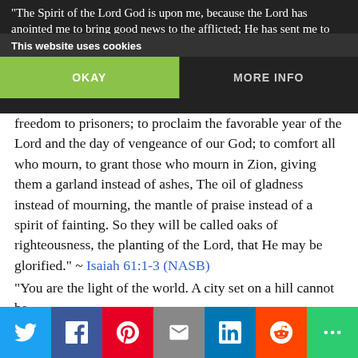“The Spirit of the Lord God is upon me, because the Lord has anointed me to bring good news to the afflicted; He has sent me to proclaim liberty to captives and
This website uses cookies
OKAY
MORE INFO
freedom to prisoners; to proclaim the favorable year of the Lord and the day of vengeance of our God; to comfort all who mourn, to grant those who mourn in Zion, giving them a garland instead of ashes, The oil of gladness instead of mourning, the mantle of praise instead of a spirit of fainting. So they will be called oaks of righteousness, the planting of the Lord, that He may be glorified.” ~ Isaiah 61:1-3 (NASB)
“…you are a chosen race, a royal priesthood, a holy nation, a people for God’s own possession, so that you may proclaim the excellencies of Him who has called you out of darkness into His marvelous light.” ~ 1 Peter 2:9 (NASB)
“You are the light of the world. A city set on a hill cannot be